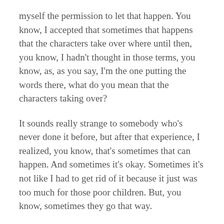myself the permission to let that happen. You know, I accepted that sometimes that happens that the characters take over where until then, you know, I hadn't thought in those terms, you know, as, as you say, I'm the one putting the words there, what do you mean that the characters taking over?
It sounds really strange to somebody who's never done it before, but after that experience, I realized, you know, that's sometimes that can happen. And sometimes it's okay. Sometimes it's not like I had to get rid of it because it just was too much for those poor children. But, you know, sometimes they go that way.
Patricia McLinn [35:38] Well, I've told this story before, but, um, I had a murder mystery that I